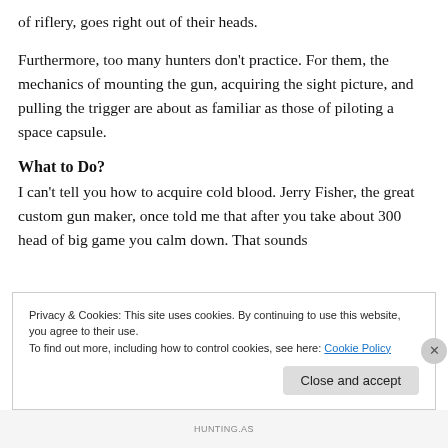of riflery, goes right out of their heads.
Furthermore, too many hunters don't practice. For them, the mechanics of mounting the gun, acquiring the sight picture, and pulling the trigger are about as familiar as those of piloting a space capsule.
What to Do?
I can't tell you how to acquire cold blood. Jerry Fisher, the great custom gun maker, once told me that after you take about 300 head of big game you calm down. That sounds
Privacy & Cookies: This site uses cookies. By continuing to use this website, you agree to their use.
To find out more, including how to control cookies, see here: Cookie Policy
Close and accept